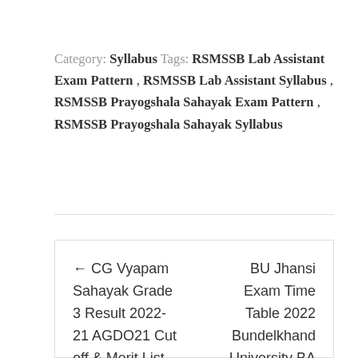Category: Syllabus Tags: RSMSSB Lab Assistant Exam Pattern , RSMSSB Lab Assistant Syllabus , RSMSSB Prayogshala Sahayak Exam Pattern , RSMSSB Prayogshala Sahayak Syllabus
← CG Vyapam Sahayak Grade 3 Result 2022-21 AGDO21 Cut off & Merit List
BU Jhansi Exam Time Table 2022 Bundelkhand University BA BSc BCom 1st 2nd 3rd Year Date Sheet →